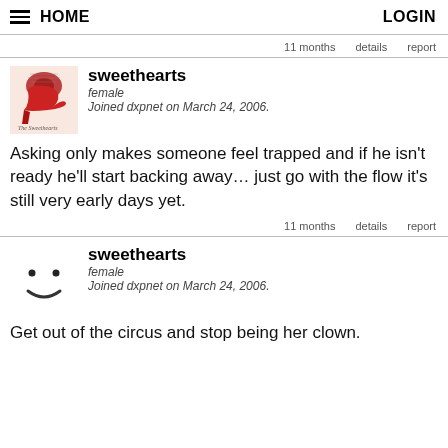HOME   LOGIN
11 months   details   report
[Figure (illustration): Avatar image of sweethearts user showing a red high heel shoe with fishnet stockings and a decorative logo]
sweethearts
female
Joined dxpnet on March 24, 2006.
Asking only makes someone feel trapped and if he isn't ready he'll start backing away… just go with the flow it's still very early days yet.
11 months   details   report
[Figure (illustration): Simple smiley face avatar with two dots for eyes and a curved line for a mouth]
sweethearts
female
Joined dxpnet on March 24, 2006.
Get out of the circus and stop being her clown.